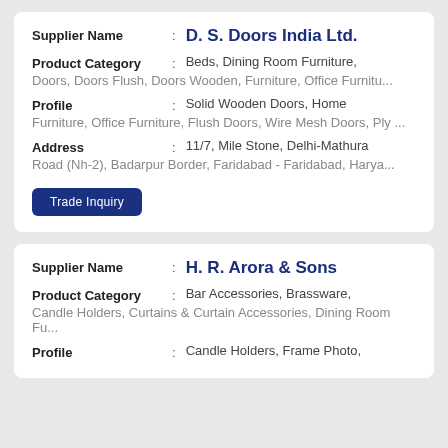| Supplier Name | D. S. Doors India Ltd. |
| Product Category | Beds, Dining Room Furniture, |
|  | Doors, Doors Flush, Doors Wooden, Furniture, Office Furnitu... |
| Profile | Solid Wooden Doors, Home |
|  | Furniture, Office Furniture, Flush Doors, Wire Mesh Doors, Ply ... |
| Address | 11/7, Mile Stone, Delhi-Mathura |
|  | Road (Nh-2), Badarpur Border, Faridabad - Faridabad, Harya... |
Trade Inquiry
| Supplier Name | H. R. Arora & Sons |
| Product Category | Bar Accessories, Brassware, |
|  | Candle Holders, Curtains & Curtain Accessories, Dining Room Fu... |
| Profile | Candle Holders, Frame Photo, |